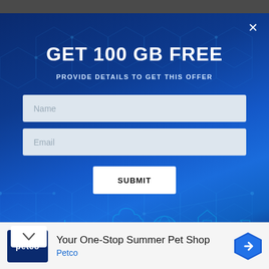[Figure (screenshot): Pop-up modal with dark blue gradient background featuring hexagon tech pattern. Contains title GET 100 GB FREE, subtitle PROVIDE DETAILS TO GET THIS OFFER, two input fields (Name, Email), and a SUBMIT button. A close (X) button is in the top right. A chevron-down button is at the bottom left.]
GET 100 GB FREE
PROVIDE DETAILS TO GET THIS OFFER
Name
Email
SUBMIT
Your One-Stop Summer Pet Shop
Petco